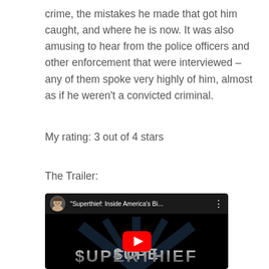crime, the mistakes he made that got him caught, and where he is now. It was also amusing to hear from the police officers and other enforcement that were interviewed – any of them spoke very highly of him, almost as if he weren't a convicted criminal.
My rating: 3 out of 4 stars
The Trailer:
[Figure (screenshot): YouTube video thumbnail for 'Superthief: Inside America's Bi...' showing the title $UPERTHIEF in large stylized text on a dark background with a YouTube play button overlay. The video top bar shows a small avatar and the video title.]